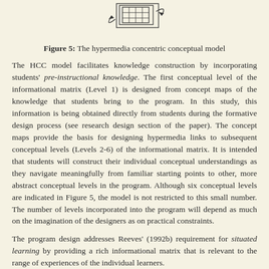[Figure (schematic): Top portion of a hypermedia concentric conceptual model diagram showing nested/layered rectangles with arrows indicating navigation between levels]
Figure 5: The hypermedia concentric conceptual model
The HCC model facilitates knowledge construction by incorporating students' pre-instructional knowledge. The first conceptual level of the informational matrix (Level 1) is designed from concept maps of the knowledge that students bring to the program. In this study, this information is being obtained directly from students during the formative design process (see research design section of the paper). The concept maps provide the basis for designing hypermedia links to subsequent conceptual levels (Levels 2-6) of the informational matrix. It is intended that students will construct their individual conceptual understandings as they navigate meaningfully from familiar starting points to other, more abstract conceptual levels in the program. Although six conceptual levels are indicated in Figure 5, the model is not restricted to this small number. The number of levels incorporated into the program will depend as much on the imagination of the designers as on practical constraints.
The program design addresses Reeves' (1992b) requirement for situated learning by providing a rich informational matrix that is relevant to the range of experiences of the individual learners.